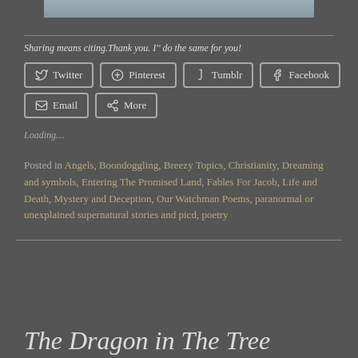[Figure (photo): Partial image strip at top of page showing what appears to be a painting or photo with blue/grey tones]
Sharing means citing.Thank you. I'' do the same for you!
Twitter   Pinterest   Tumblr   Facebook   Email   More
Loading...
Posted in Angels, Boondoggling, Breezy Topics, Christianity, Dreaming and symbols, Entering The Promised Land, Fables For Jacob, Life and Death, Mystery and Deception, Our Watchman Poems, paranormal or unexplained supernatural stories and picd, poetry
The Dragon in The Tree